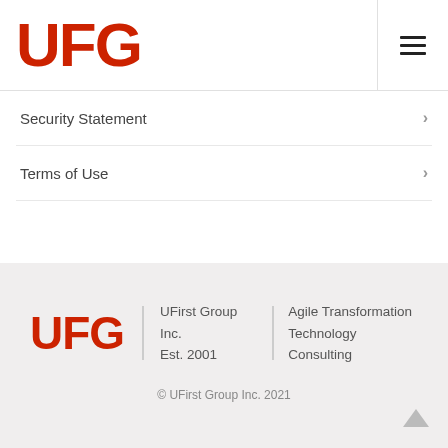UFG
Security Statement
Terms of Use
[Figure (logo): UFG logo with text: UFirst Group Inc. Est. 2001 | Agile Transformation Technology Consulting]
© UFirst Group Inc. 2021